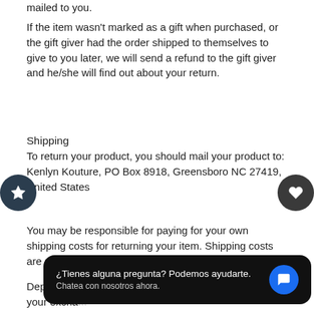mailed to you.
If the item wasn't marked as a gift when purchased, or the gift giver had the order shipped to themselves to give to you later, we will send a refund to the gift giver and he/she will find out about your return.
Shipping
To return your product, you should mail your product to: Kenlyn Kouture, PO Box 8918, Greensboro NC 27419, United States
You may be responsible for paying for your own shipping costs for returning your item. Shipping costs are non-refundable.
Depending on where you live, the time it may take for your excha... vary.